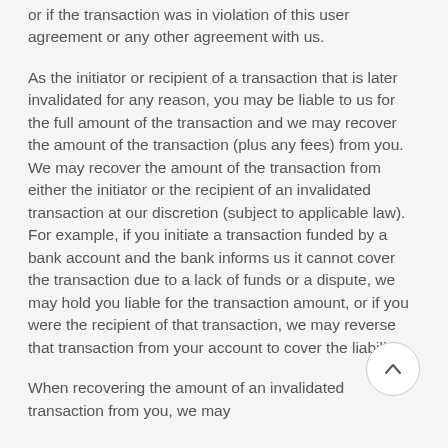or if the transaction was in violation of this user agreement or any other agreement with us.
As the initiator or recipient of a transaction that is later invalidated for any reason, you may be liable to us for the full amount of the transaction and we may recover the amount of the transaction (plus any fees) from you. We may recover the amount of the transaction from either the initiator or the recipient of an invalidated transaction at our discretion (subject to applicable law). For example, if you initiate a transaction funded by a bank account and the bank informs us it cannot cover the transaction due to a lack of funds or a dispute, we may hold you liable for the transaction amount, or if you were the recipient of that transaction, we may reverse that transaction from your account to cover the liability.
When recovering the amount of an invalidated transaction from you, we may